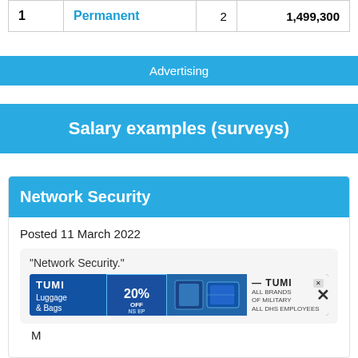| # | Type |  | Amount |
| --- | --- | --- | --- |
| 1 | Permanent | 2 | 1,499,300 |
Advertising
Salary examples (surveys)
Network Security
Posted 11 March 2022
"Network Security."
[Figure (photo): TUMI Luggage & Bags advertisement banner showing 20% off with luggage bags image, TUMI logo, CGX logo, ALL BRANDS OF MILITARY ALL DHS EMPLOYEES, SHOP NOW button]
M